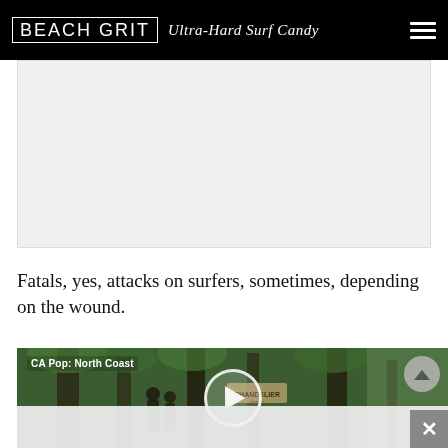BEACH GRIT Ultra-Hard Surf Candy
[Figure (other): Advertisement placeholder area, light gray background]
Fatals, yes, attacks on surfers, sometimes, depending on the wound.
[Figure (screenshot): Video thumbnail showing people in a redwood forest with play button overlay. Label reads 'CA Pop: North Coast'. Scroll-up button and close button visible.]